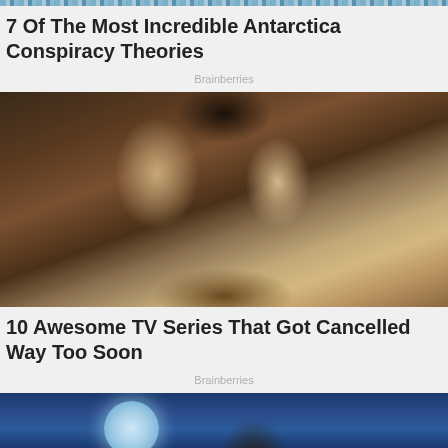[Figure (other): Decorative banner strip with blue wave/chevron pattern]
7 Of The Most Incredible Antarctica Conspiracy Theories
Brainberries
[Figure (photo): A man in period costume embraces a woman in a medieval/renaissance dress from behind, both in dramatic historical attire against a dark stone background]
10 Awesome TV Series That Got Cancelled Way Too Soon
Brainberries
[Figure (photo): Night sky scene with a large glowing full moon on the left against a deep blue sky, with a partial figure visible on the right]